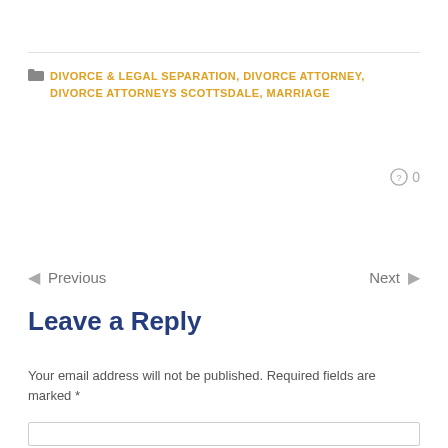DIVORCE & LEGAL SEPARATION, DIVORCE ATTORNEY, DIVORCE ATTORNEYS SCOTTSDALE, MARRIAGE
0
← Previous    Next →
Leave a Reply
Your email address will not be published. Required fields are marked *